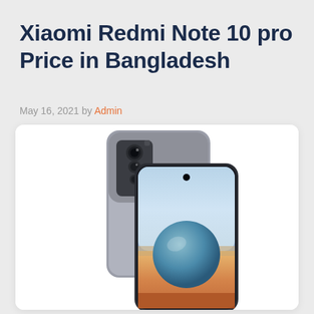Xiaomi Redmi Note 10 pro Price in Bangladesh
May 16, 2021 by Admin
[Figure (photo): Xiaomi Redmi Note 10 Pro smartphone shown from back and front, in Onyx Gray color, with a gradient wallpaper showing a sphere and landscape]